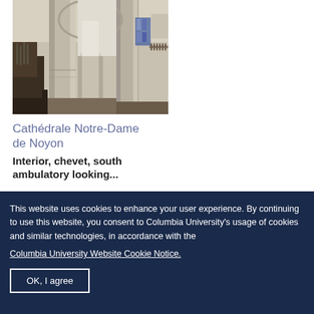[Figure (photo): Interior of Cathédrale Notre-Dame de Noyon showing columns, arches, and ambulatory]
Cathédrale Notre-Dame de Noyon
Interior, chevet, south ambulatory looking...
This website uses cookies to enhance your user experience. By continuing to use this website, you consent to Columbia University's usage of cookies and similar technologies, in accordance with the
Columbia University Website Cookie Notice.
OK, I agree